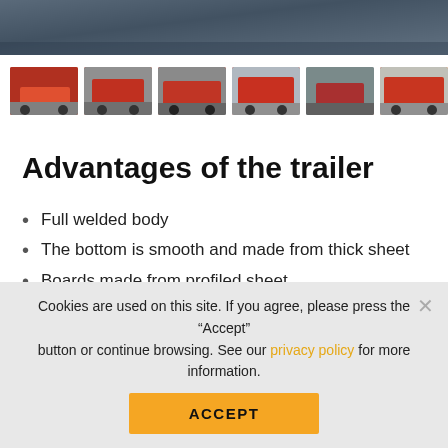[Figure (photo): Hero image showing a top-down view of dark textured surface (gravel or ground)]
[Figure (photo): Row of 6 thumbnail images showing red/orange trailers from various angles]
Advantages of the trailer
Full welded body
The bottom is smooth and made from thick sheet
Boards made from profiled sheet
Hydraulic breaking system
Cookies are used on this site. If you agree, please press the “Accept” button or continue browsing. See our privacy policy for more information.